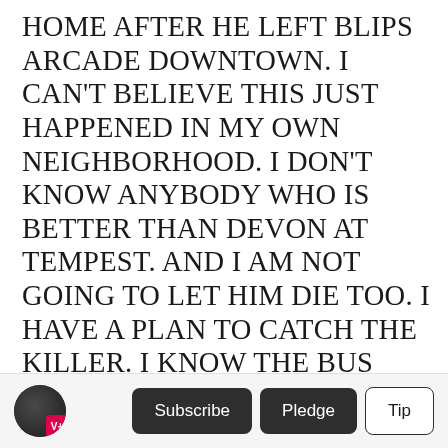HOME AFTER HE LEFT BLIPS ARCADE DOWNTOWN. I CAN'T BELIEVE THIS JUST HAPPENED IN MY OWN NEIGHBORHOOD. I DON'T KNOW ANYBODY WHO IS BETTER THAN DEVON AT TEMPEST. AND I AM NOT GOING TO LET HIM DIE TOO. I HAVE A PLAN TO CATCH THE KILLER. I KNOW THE BUS ROUTES FOR ALL THE ARCADES IN TOWN. AND MY DAD LEFT ME A BUNCH OF MONEY SO I DON'T CARE HOW LONG IT TAKES. ME AND MY BEST FRIEND CAMERON ARE STARTING RIGHT AFTER HIS FUNERAL.
=END=
Subscribe | Pledge | Tip